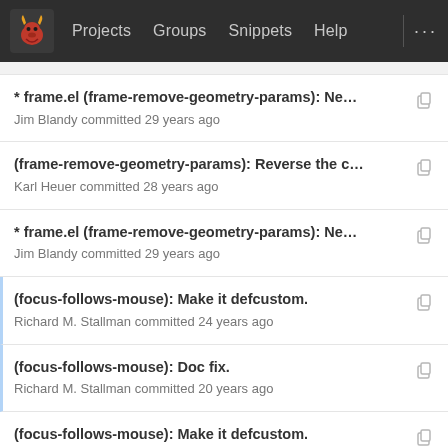Projects  Groups  Snippets  Help  ...
* frame.el (frame-remove-geometry-params): New f...
Jim Blandy committed 29 years ago
(frame-remove-geometry-params): Reverse the co...
Karl Heuer committed 28 years ago
* frame.el (frame-remove-geometry-params): New f...
Jim Blandy committed 29 years ago
(focus-follows-mouse): Make it defcustom.
Richard M. Stallman committed 24 years ago
(focus-follows-mouse): Doc fix.
Richard M. Stallman committed 20 years ago
(focus-follows-mouse): Make it defcustom.
Richard M. Stallman committed 24 years ago